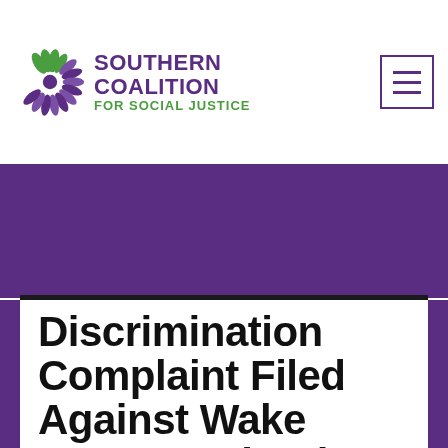[Figure (logo): Southern Coalition for Social Justice logo with flower/leaf graphic in purple and green, accompanied by organization name text]
Discrimination Complaint Filed Against Wake County Schools